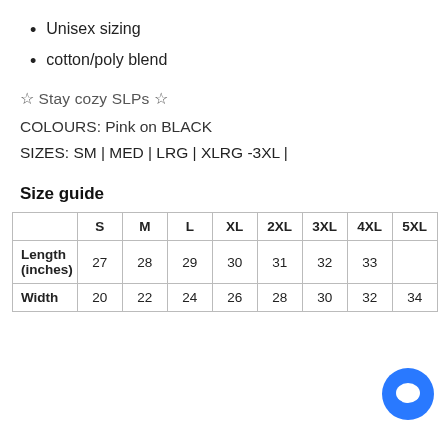Unisex sizing
cotton/poly blend
☆ Stay cozy SLPs ☆
COLOURS: Pink on BLACK
SIZES: SM | MED | LRG | XLRG -3XL |
Size guide
|  | S | M | L | XL | 2XL | 3XL | 4XL | 5XL |
| --- | --- | --- | --- | --- | --- | --- | --- | --- |
| Length (inches) | 27 | 28 | 29 | 30 | 31 | 32 | 33 |  |
| Width | 20 | 22 | 24 | 26 | 28 | 30 | 32 | 34 |